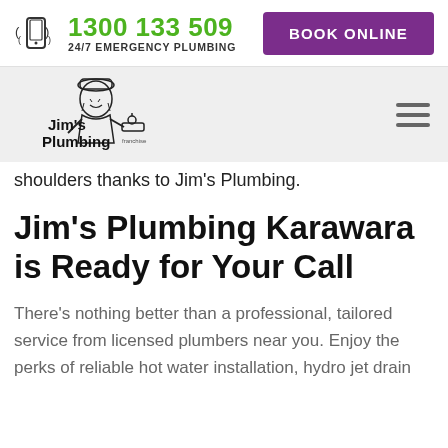1300 133 509 | 24/7 EMERGENCY PLUMBING | BOOK ONLINE
[Figure (logo): Jim's Plumbing logo with cartoon plumber character and faucet illustration]
shoulders thanks to Jim's Plumbing.
Jim's Plumbing Karawara is Ready for Your Call
There's nothing better than a professional, tailored service from licensed plumbers near you. Enjoy the perks of reliable hot water installation, hydro jet drain